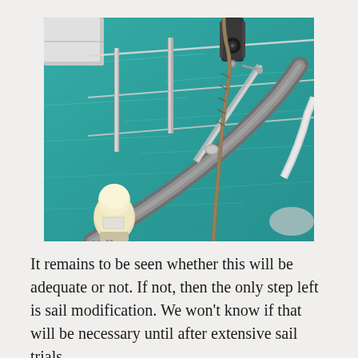[Figure (photo): Close-up photograph of sailboat hardware: stainless steel stanchions and rails, a rope/halyard running through a block/shackle assembly, a light-colored instrument knob (possibly GPS antenna or similar) mounted on the rail, against a background of teal/turquoise water.]
It remains to be seen whether this will be adequate or not. If not, then the only step left is sail modification. We won't know if that will be necessary until after extensive sail trials.